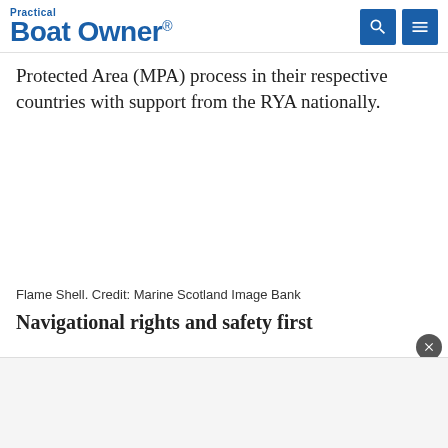Practical Boat Owner
Protected Area (MPA) process in their respective countries with support from the RYA nationally.
[Figure (photo): Large blank/white image area representing a Flame Shell photograph]
Flame Shell. Credit: Marine Scotland Image Bank
Navigational rights and safety first